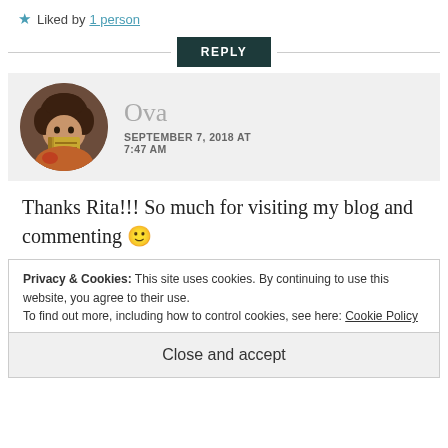★ Liked by 1 person
REPLY
[Figure (photo): Circular avatar photo of person holding a book, with curly brown hair]
Ova
SEPTEMBER 7, 2018 AT 7:47 AM
Thanks Rita!!! So much for visiting my blog and commenting 🙂
Privacy & Cookies: This site uses cookies. By continuing to use this website, you agree to their use.
To find out more, including how to control cookies, see here: Cookie Policy
Close and accept